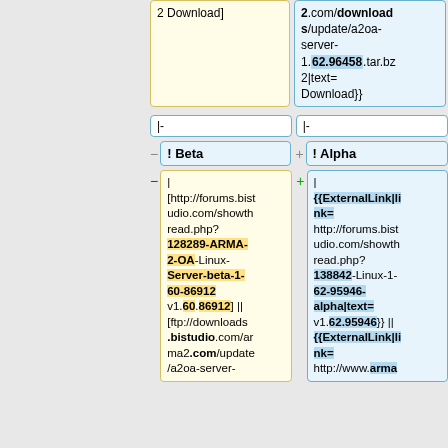2 Download]
2.com/downloads/update/a2oa-server-1.62.96458.tar.bz2|text= Download}}
|-
|-
! Beta
! Alpha
| [http://forums.bistudio.com/showthread.php? 128289-ARMA-2-OA-Linux-Server-beta-1-60-86912 v1.60.86912] || [ftp://downloads.bistudio.com/arma2.com/update/a2oa-server-
| {{ExternalLink|link= http://forums.bistudio.com/showthread.php? 138842-Linux-1-62-95946-alpha|text= v1.62.95946}} || {{ExternalLink|link= http://www.arma